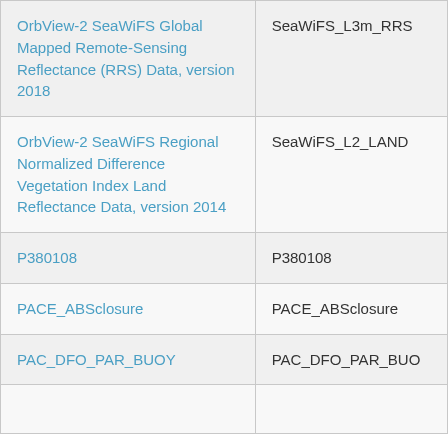| OrbView-2 SeaWiFS Global Mapped Remote-Sensing Reflectance (RRS) Data, version 2018 | SeaWiFS_L3m_RRS |
| OrbView-2 SeaWiFS Regional Normalized Difference Vegetation Index Land Reflectance Data, version 2014 | SeaWiFS_L2_LAND |
| P380108 | P380108 |
| PACE_ABSclosure | PACE_ABSclosure |
| PAC_DFO_PAR_BUOY | PAC_DFO_PAR_BUO |